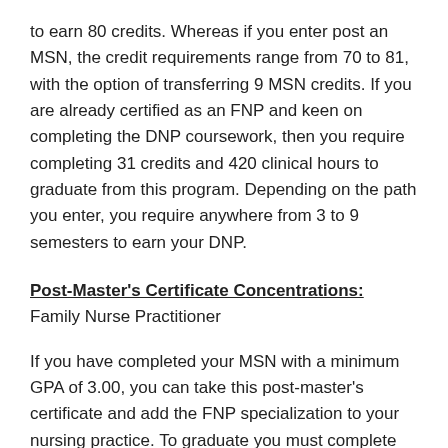to earn 80 credits. Whereas if you enter post an MSN, the credit requirements range from 70 to 81, with the option of transferring 9 MSN credits. If you are already certified as an FNP and keen on completing the DNP coursework, then you require completing 31 credits and 420 clinical hours to graduate from this program. Depending on the path you enter, you require anywhere from 3 to 9 semesters to earn your DNP.
Post-Master's Certificate Concentrations: Family Nurse Practitioner
If you have completed your MSN with a minimum GPA of 3.00, you can take this post-master's certificate and add the FNP specialization to your nursing practice. To graduate you must complete 41 credits in advanced practice core and FNP specific courses.
2) Mississippi University for Women - Columbus